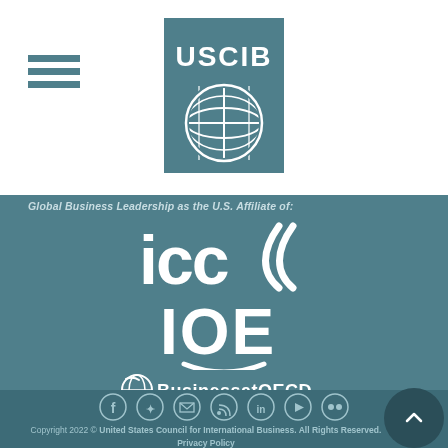[Figure (logo): USCIB logo — white text 'USCIB' above a globe grid icon on teal square background]
Global Business Leadership as the U.S. Affiliate of:
[Figure (logo): ICC logo — bold white letters 'icc' with stylized double-arc symbol on teal background]
[Figure (logo): IOE logo — bold white letters 'IOE' with smile arc underneath on teal background]
[Figure (logo): BusinessatOECD logo — globe icon and text 'BusinessatOECD' in white on teal background]
[Figure (infographic): Social media icon row: Facebook, Twitter, Email, RSS, LinkedIn, YouTube, Flickr — circles with icons]
Copyright 2022 © United States Council for International Business. All Rights Reserved. Privacy Policy